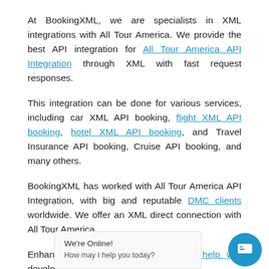At BookingXML, we are specialists in XML integrations with All Tour America. We provide the best API integration for All Tour America API Integration through XML with fast request responses.
This integration can be done for various services, including car XML API booking, flight XML API booking, hotel XML API booking, and Travel Insurance API booking, Cruise API booking, and many others.
BookingXML has worked with All Tour America API Integration, with big and reputable DMC clients worldwide. We offer an XML direct connection with All Tour America.
Enhancing your customer service will help you develop your travel company into a bigger